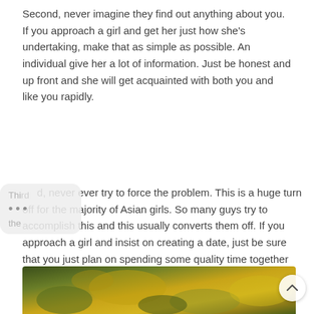Second, never imagine they find out anything about you. If you approach a girl and get her just how she's undertaking, make that as simple as possible. An individual give her a lot of information. Just be honest and up front and she will get acquainted with both you and like you rapidly.
Third, never ever try to force the problem. This is a huge turn off for the majority of Asian girls. So many guys try to accomplish this and this usually converts them off. If you approach a girl and insist on creating a date, just be sure that you just plan on spending some quality time together without hanging out 24 hours a day!
There are plenty of things that you can do to meet up with Asian female online. Just using your search engine is going to consider you nowhere. You need to combined a strategy to capture all their attention. This tactic will consist of creating instant fascination with your Cookware girl.
[Figure (photo): Partial view of a nature/floral photo with yellow and green tones, appearing as a strip at the bottom of the page.]